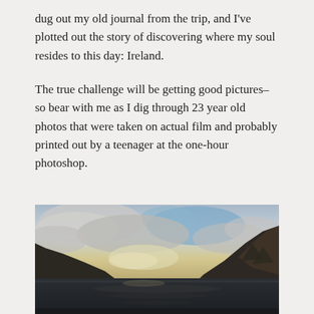dug out my old journal from the trip, and I've plotted out the story of discovering where my soul resides to this day: Ireland.
The true challenge will be getting good pictures– so bear with me as I dig through 23 year old photos that were taken on actual film and probably printed out by a teenager at the one-hour photoshop.
[Figure (photo): Landscape photo of an Irish valley with a dark lake/river in the foreground reflecting cloudy skies, steep hillsides on both sides, and dramatic clouds above with patches of blue sky.]